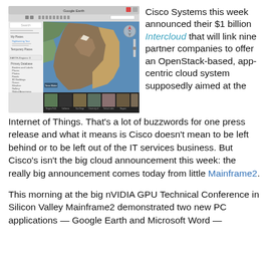[Figure (screenshot): Screenshot of Google Earth application showing a satellite map view of the western United States (California/Nevada region) with thumbnail images along the bottom and a navigation panel on the left side.]
Cisco Systems this week announced their $1 billion Intercloud that will link nine partner companies to offer an OpenStack-based, app-centric cloud system supposedly aimed at the Internet of Things. That's a lot of buzzwords for one press release and what it means is Cisco doesn't mean to be left behind or to be left out of the IT services business. But Cisco's isn't the big cloud announcement this week: the really big announcement comes today from little Mainframe2.
This morning at the big nVIDIA GPU Technical Conference in Silicon Valley Mainframe2 demonstrated two new PC applications — Google Earth and Microsoft Word —